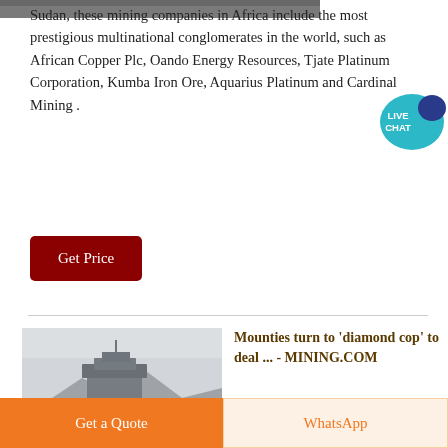[Figure (photo): Partial view of a mining facility or industrial equipment, cropped at top of page]
Sudan, these mining companies in Africa include the most prestigious multinational conglomerates in the world, such as African Copper Plc, Oando Energy Resources, Tjate Platinum Corporation, Kumba Iron Ore, Aquarius Platinum and Cardinal Mining .
[Figure (other): Live Chat speech bubble icon in teal/blue color]
Get Price
[Figure (photo): Industrial mining structure or processing facility in foggy/misty mountain environment]
Mounties turn to 'diamond cop' to deal ... - MINING.COM
Get a Quote
WhatsApp